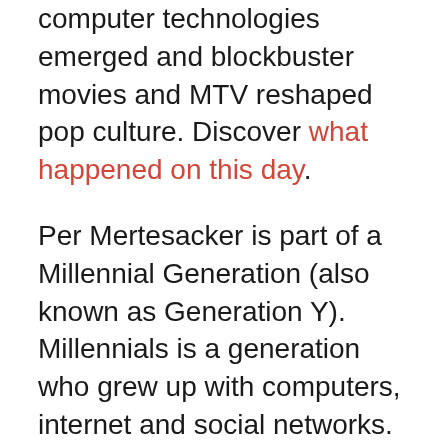computer technologies emerged and blockbuster movies and MTV reshaped pop culture. Discover what happened on this day.
Per Mertesacker is part of a Millennial Generation (also known as Generation Y). Millennials is a generation who grew up with computers, internet and social networks. Having been raised under the mantra "follow your dreams" and being told they were special, they tend to be confident and tolerant of difference.
You can also find out who is Per Mertesacker dating now and celebrity dating histories at